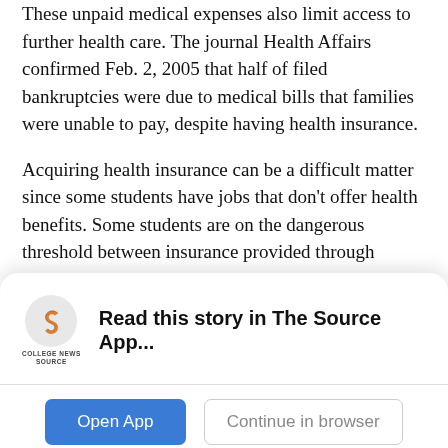These unpaid medical expenses also limit access to further health care. The journal Health Affairs confirmed Feb. 2, 2005 that half of filed bankruptcies were due to medical bills that families were unable to pay, despite having health insurance.
Acquiring health insurance can be a difficult matter since some students have jobs that don’t offer health benefits. Some students are on the dangerous threshold between insurance provided through parents and insurance provided by themselves.
[Figure (logo): College News Source logo - stylized S in orange/grey circle above text 'COLLEGE NEWS SOURCE']
Read this story in The Source App...
Open App
Continue in browser